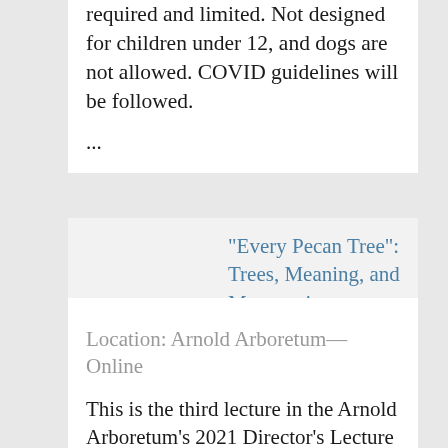This event is free, but registration is required and limited. Not designed for children under 12, and dogs are not allowed. COVID guidelines will be followed.
...
"Every Pecan Tree": Trees, Meaning, and Memory in Enslaved People’s Lives
Location: Arnold Arboretum—Online
This is the third lecture in the Arnold Arboretum's 2021 Director's Lecture Series. Tiya Miles takes up the pecan tree as inspiration for